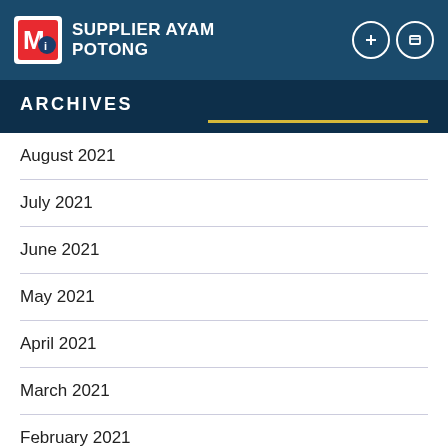SUPPLIER AYAM POTONG
ARCHIVES
August 2021
July 2021
June 2021
May 2021
April 2021
March 2021
February 2021
January 2021
December 2020